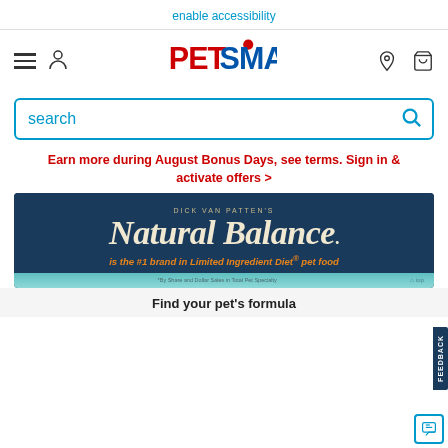enable accessibility
[Figure (logo): PetSmart logo with hamburger menu, user icon, location pin, and cart icons]
search
Earn more during August Bonus Days, see terms. Sign in & activate offers >
[Figure (advertisement): Natural Balance ad banner: DICK VAN PATTEN'S Natural Balance. is the #1 brand in Limited Ingredient Diet® pet food. *By Share and Dollar Sales in Total Pet Specialty]
Find your pet's formula